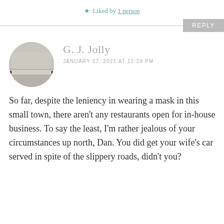★ Liked by 1 person
REPLY
G. J. Jolly
JANUARY 27, 2021 AT 12:29 PM
So far, despite the leniency in wearing a mask in this small town, there aren't any restaurants open for in-house business. To say the least, I'm rather jealous of your circumstances up north, Dan. You did get your wife's car served in spite of the slippery roads, didn't you?